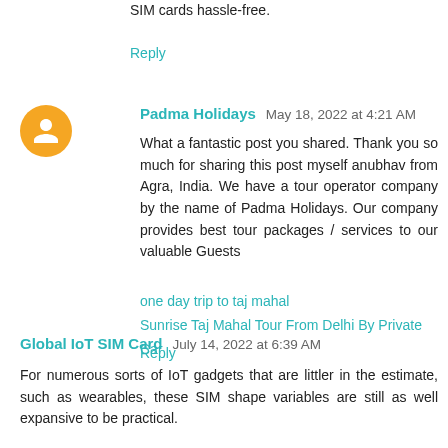SIM cards hassle-free.
Reply
Padma Holidays  May 18, 2022 at 4:21 AM
What a fantastic post you shared. Thank you so much for sharing this post myself anubhav from Agra, India. We have a tour operator company by the name of Padma Holidays. Our company provides best tour packages / services to our valuable Guests
one day trip to taj mahal
Sunrise Taj Mahal Tour From Delhi By Private Car
Reply
Global IoT SIM Card  July 14, 2022 at 6:39 AM
For numerous sorts of IoT gadgets that are littler in the estimate, such as wearables, these SIM shape variables are still as well expansive to be practical.